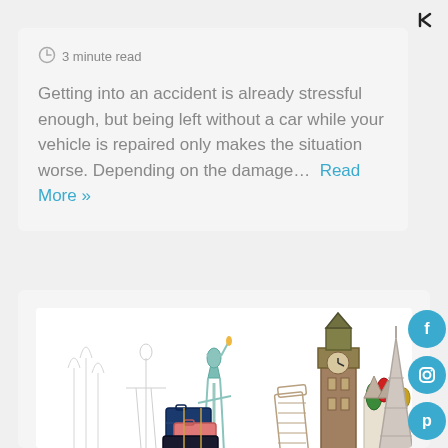[Figure (other): Back/share arrow icon in top right corner]
3 minute read
Getting into an accident is already stressful enough, but being left without a car while your vehicle is repaired only makes the situation worse. Depending on the damage… Read More »
[Figure (illustration): Illustration of world landmarks including Statue of Liberty, Big Ben, Eiffel Tower, Leaning Tower of Pisa, St. Basil's Cathedral, Christ the Redeemer, Sagrada Familia, with stacked luggage in front]
[Figure (other): Social media icon buttons: Facebook, Instagram, Pinterest, YouTube - circular cyan/teal colored buttons on right side]